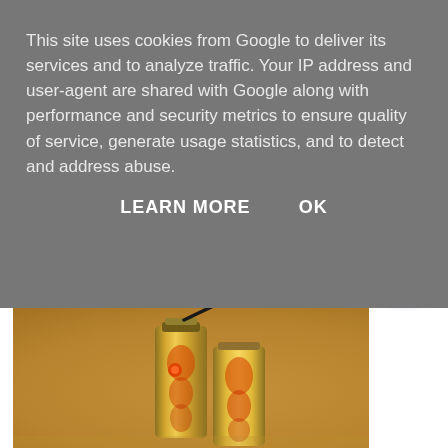This site uses cookies from Google to deliver its services and to analyze traffic. Your IP address and user-agent are shared with Google along with performance and security metrics to ensure quality of service, generate usage statistics, and to detect and address abuse.
LEARN MORE    OK
[Figure (photo): A mascara product with gold and orange decorative tube design, shown open with the applicator wand extended upward. The background is blurred with warm orange/brown tones and a purple bokeh element in the upper right.]